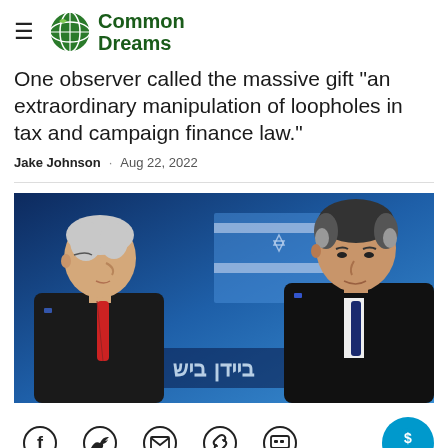Common Dreams
One observer called the massive gift 'an extraordinary manipulation of loopholes in tax and campaign finance law."
Jake Johnson · Aug 22, 2022
[Figure (photo): Two men in suits facing each other, with an Israeli flag visible in the background]
Social sharing icons: Facebook, Twitter, Email, Link, Comment, GIVE